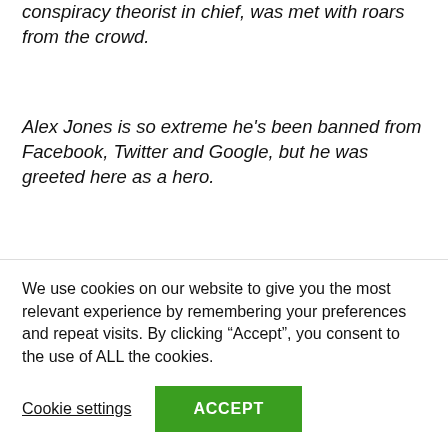conspiracy theorist in chief, was met with roars from the crowd.
Alex Jones is so extreme he's been banned from Facebook, Twitter and Google, but he was greeted here as a hero.
A few counter-protestors armed with signs of Donald Trump as a caricatured pig tried to spoil the show.
Things began spilling out into the road, tempers flared
We use cookies on our website to give you the most relevant experience by remembering your preferences and repeat visits. By clicking “Accept”, you consent to the use of ALL the cookies.
Cookie settings
ACCEPT